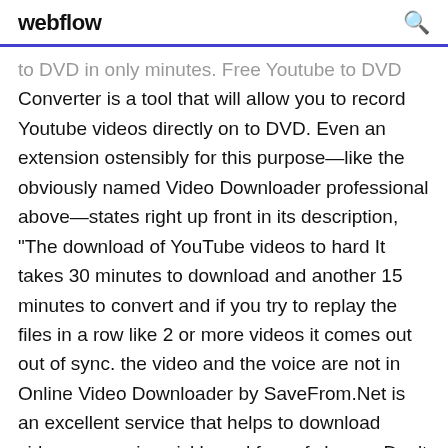webflow
to DVD in only minutes. Free Youtube to DVD Converter is a tool that will allow you to record Youtube videos directly on to DVD. Even an extension ostensibly for this purpose—like the obviously named Video Downloader professional above—states right up front in its description, "The download of YouTube videos to hard It takes 30 minutes to download and another 15 minutes to convert and if you try to replay the files in a row like 2 or more videos it comes out out of sync. the video and the voice are not in Online Video Downloader by SaveFrom.Net is an excellent service that helps to download videos or music quickly and free of charge. Don't need to install other software